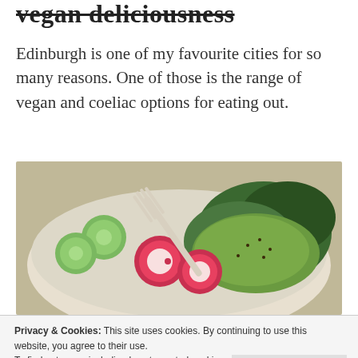vegan deliciousness
Edinburgh is one of my favourite cities for so many reasons. One of those is the range of vegan and coeliac options for eating out.
[Figure (photo): A bowl of vegan food with cucumber slices, radishes, guacamole-style avocado mash, and green herbs/kale, with a fork resting in the bowl.]
Privacy & Cookies: This site uses cookies. By continuing to use this website, you agree to their use.
To find out more, including how to control cookies, see here:
Cookie Policy
Close and accept